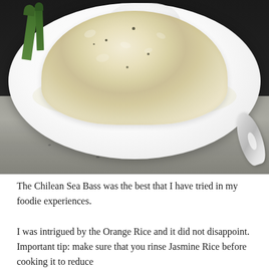[Figure (photo): Close-up photo of a plate with a mound of white/yellow rice (Orange Rice or Jasmine Rice), green asparagus spears visible in the upper left, creamy sauce on a white plate, with what appears to be Chilean Sea Bass. The plate rests on a granite-like surface with a silver spoon visible on the right.]
The Chilean Sea Bass was the best that I have tried in my foodie experiences.
I was intrigued by the Orange Rice and it did not disappoint. Important tip: make sure that you rinse Jasmine Rice before cooking it to reduce the starch. The sauce will change a few colors during its various stages of